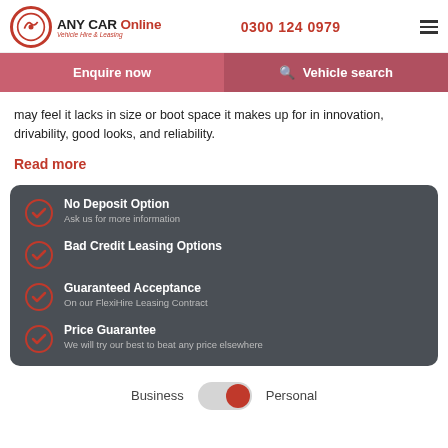ANY CAR Online - Vehicle Hire & Leasing | 0300 124 0979
Enquire now | Vehicle search
may feel it lacks in size or boot space it makes up for in innovation, drivability, good looks, and reliability.
Read more
No Deposit Option - Ask us for more information
Bad Credit Leasing Options
Guaranteed Acceptance - On our FlexiHire Leasing Contract
Price Guarantee - We will try our best to beat any price elsewhere
Business | Personal